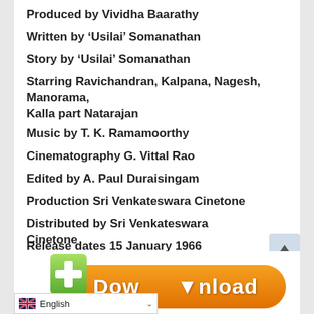Produced by Vividha Baarathy
Written by ‘Usilai’ Somanathan
Story by ‘Usilai’ Somanathan
Starring Ravichandran, Kalpana, Nagesh, Manorama, Kalla part Natarajan
Music by T. K. Ramamoorthy
Cinematography G. Vittal Rao
Edited by A. Paul Duraisingam
Production Sri Venkateswara Cinetone
Distributed by Sri Venkateswara Cinetone
Release dates 15 January 1966
Running time 121 Minutes
Country India
Language Tamil
[Figure (screenshot): Download button with green plus icon and orange rounded rectangle with text 'Download' and a language selector showing English with UK flag]